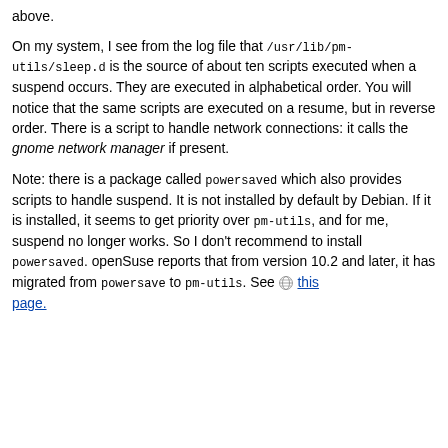above.
On my system, I see from the log file that /usr/lib/pm-utils/sleep.d is the source of about ten scripts executed when a suspend occurs. They are executed in alphabetical order. You will notice that the same scripts are executed on a resume, but in reverse order. There is a script to handle network connections: it calls the gnome network manager if present.
Note: there is a package called powersaved which also provides scripts to handle suspend. It is not installed by default by Debian. If it is installed, it seems to get priority over pm-utils, and for me, suspend no longer works. So I don't recommend to install powersaved. openSuse reports that from version 10.2 and later, it has migrated from powersave to pm-utils. See this page.